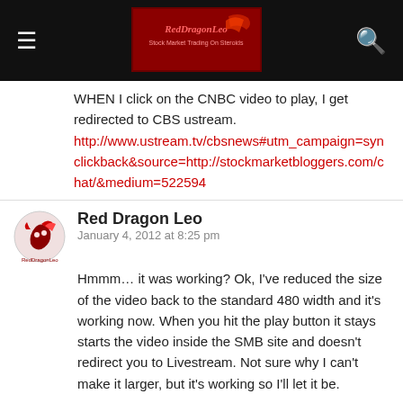Red Dragon Leo site — navigation bar with logo
WHEN I click on the CNBC video to play, I get redirected to CBS ustream.
http://www.ustream.tv/cbsnews#utm_campaign=synclickback&source=http://stockmarketbloggers.com/chat/&medium=522594
Red Dragon Leo
January 4, 2012 at 8:25 pm
Hmmm… it was working?  Ok, I've reduced the size of the video back to the standard 480 width and it's working now.  When you hit the play button it stays starts the video inside the SMB site and doesn't redirect you to Livestream.  Not sure why I can't make it larger, but it's working so I'll let it be.
zstock7
January 4, 2012 at 6:11 pm
now my site dis appeared. what did you do to it red:)j/k